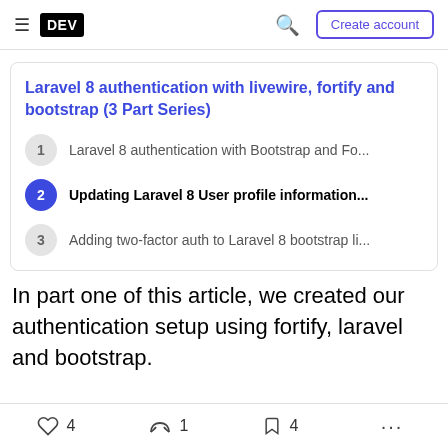DEV  Create account
Laravel 8 authentication with livewire, fortify and bootstrap (3 Part Series)
1  Laravel 8 authentication with Bootstrap and Fo...
2  Updating Laravel 8 User profile information...
3  Adding two-factor auth to Laravel 8 bootstrap li...
In part one of this article, we created our authentication setup using fortify, laravel and bootstrap.
4  1  4  ...